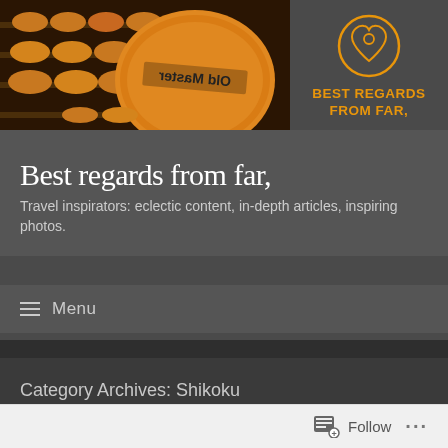[Figure (photo): Photo of rows of yellow/orange round cheese wheels aging on wooden shelves, with one large wheel in foreground showing 'Old Master' branding label in reverse]
[Figure (logo): Circular orange logo with heart/location pin icon inside, with text 'BEST REGARDS FROM FAR,' in bold orange capital letters below]
Best regards from far,
Travel inspirators: eclectic content, in-depth articles, inspiring photos.
Menu
Category Archives: Shikoku
Follow